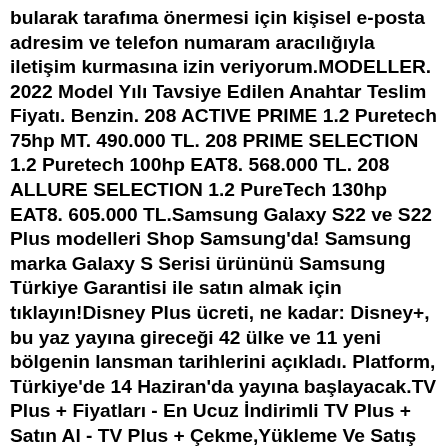bularak tarafıma önermesi için kişisel e-posta adresim ve telefon numaram aracılığıyla iletişim kurmasına izin veriyorum.MODELLER. 2022 Model Yılı Tavsiye Edilen Anahtar Teslim Fiyatı. Benzin. 208 ACTIVE PRIME 1.2 Puretech 75hp MT. 490.000 TL. 208 PRIME SELECTION 1.2 Puretech 100hp EAT8. 568.000 TL. 208 ALLURE SELECTION 1.2 PureTech 130hp EAT8. 605.000 TL.Samsung Galaxy S22 ve S22 Plus modelleri Shop Samsung'da! Samsung marka Galaxy S Serisi ürününü Samsung Türkiye Garantisi ile satın almak için tıklayın!Disney Plus ücreti, ne kadar: Disney+, bu yaz yayına gireceği 42 ülke ve 11 yeni bölgenin lansman tarihlerini açıkladı. Platform, Türkiye'de 14 Haziran'da yayına başlayacak.TV Plus + Fiyatları - En Ucuz İndirimli TV Plus + Satın Al - TV Plus + Çekme,Yükleme Ve Satış Sitesi. Yukarıya Git. 0 SEPETİM 0 ÜRÜN - 0,00. Henüz sepetinize ürün eklenmemiş. Toplam Tutar: 0,00. BAKİYE YÜKLE SİPARİŞ TAMAMLA. ANASAYFA; OYUNLAR; STEAM OYUNLARI;Star Plus Penseler uygun fiyat ve indirim fırsatlarıyla burada. Tıkla, en